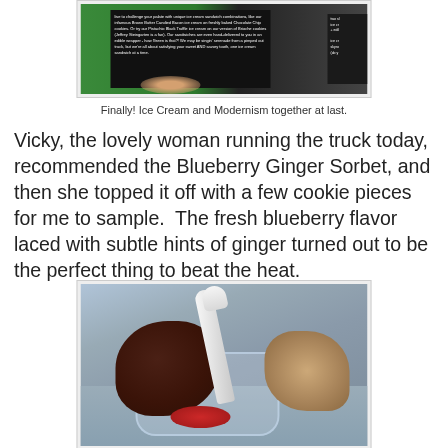[Figure (photo): Photo of an ice cream truck window with green and black signage showing text about ice cream sandwiches and unique flavor combinations]
Finally! Ice Cream and Modernism together at last.
Vicky, the lovely woman running the truck today, recommended the Blueberry Ginger Sorbet, and then she topped it off with a few cookie pieces for me to sample.  The fresh blueberry flavor laced with subtle hints of ginger turned out to be the perfect thing to beat the heat.
[Figure (photo): Photo of a sorbet or ice cream dessert in a clear cup with two cookies (one dark chocolate, one light colored) and a white plastic spoon, with red filling visible]